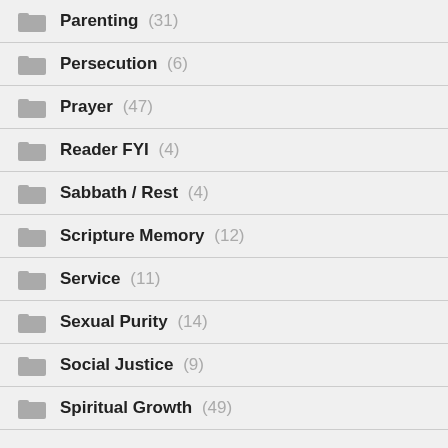Parenting (31)
Persecution (6)
Prayer (47)
Reader FYI (4)
Sabbath / Rest (4)
Scripture Memory (12)
Service (11)
Sexual Purity (14)
Social Justice (9)
Spiritual Growth (49)